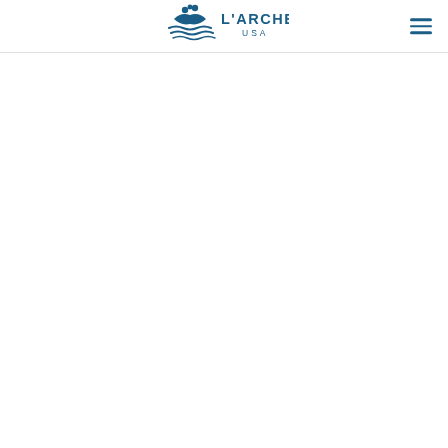L'Arche USA navigation header with logo and hamburger menu
[Figure (logo): L'Arche USA logo: two figures with a boat/arch shape and waves below, teal/dark blue color, with text "L'ARCHE USA" beside it]